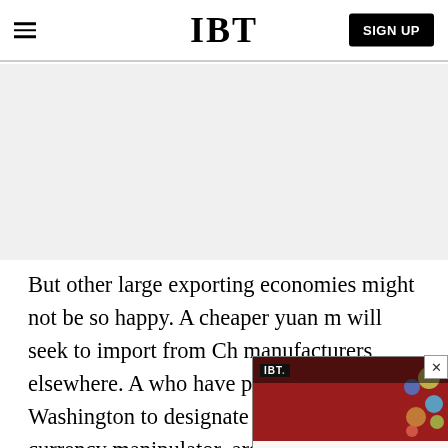IBT
[Figure (other): Gray advertisement placeholder area]
But other large exporting economies might not be so happy. A cheaper yuan m will seek to import from Ch manufacturers elsewhere. A who have prodded Washington to designate China as a currency manipulator, argue that points shaved
[Figure (other): IBT video overlay showing a face with colorful makeup over red background with bubbles. Topbar shows IBT logo. Caption reads: New Spider Genus, Several New Species...]